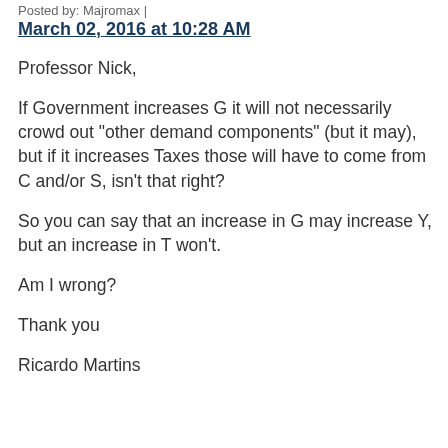Posted by: Majromax |
March 02, 2016 at 10:28 AM
Professor Nick,
If Government increases G it will not necessarily crowd out "other demand components" (but it may), but if it increases Taxes those will have to come from C and/or S, isn't that right?
So you can say that an increase in G may increase Y, but an increase in T won't.
Am I wrong?
Thank you
Ricardo Martins